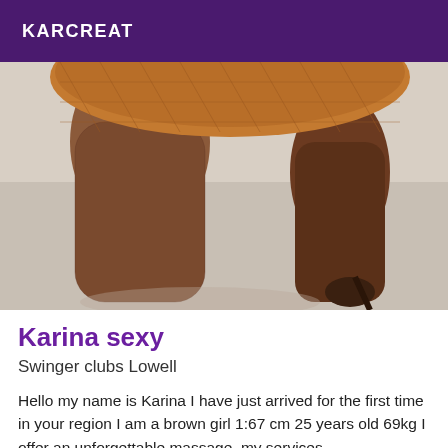KARCREAT
[Figure (photo): Close-up photo of a woman's legs in fishnet stockings and high heels, bending forward, against a light background.]
Karina sexy
Swinger clubs Lowell
Hello my name is Karina I have just arrived for the first time in your region I am a brown girl 1:67 cm 25 years old 69kg I offer an unforgettable massage, my services